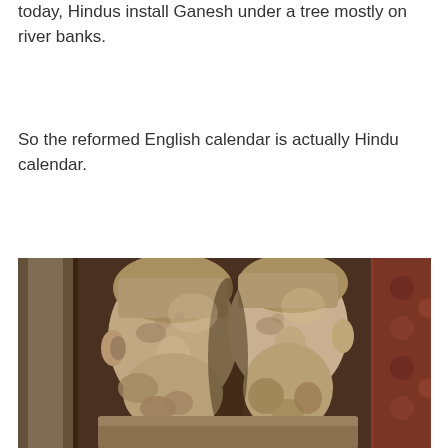today, Hindus install Ganesh under a tree mostly on river banks.
So the reformed English calendar is actually Hindu calendar.
[Figure (photo): A stone sculpture showing two bearded faces (likely a Janus-type or classical figure) side by side, with ornate decorative background featuring floral and scroll patterns. The marble sculpture depicts detailed curly hair and beards on the two male faces.]